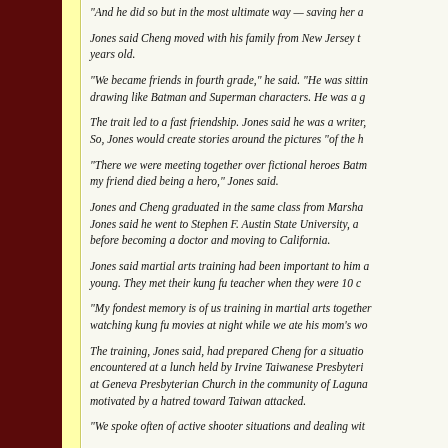“And he did so but in the most ultimate way — saving her a…
Jones said Cheng moved with his family from New Jersey to… years old.
“We became friends in fourth grade,” he said. “He was sittin… drawing like Batman and Superman characters. He was a g…
The trait led to a fast friendship. Jones said he was a writer,… So, Jones would create stories around the pictures “of the h…
“There we were meeting together over fictional heroes Batm… my friend died being a hero,” Jones said.
Jones and Cheng graduated in the same class from Marsha… Jones said he went to Stephen F. Austin State University, a… before becoming a doctor and moving to California.
Jones said martial arts training had been important to him a… young. They met their kung fu teacher when they were 10 c…
“My fondest memory is of us training in martial arts together… watching kung fu movies at night while we ate his mom’s wo…
The training, Jones said, had prepared Cheng for a situatio… encountered at a lunch held by Irvine Taiwanese Presbyteri… at Geneva Presbyterian Church in the community of Laguna… motivated by a hatred toward Taiwan attacked.
“We spoke often of active shooter situations and dealing wit…